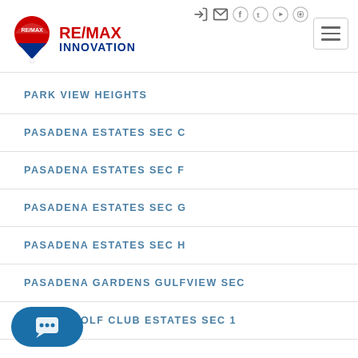RE/MAX INNOVATION
PARK VIEW HEIGHTS
PASADENA ESTATES SEC C
PASADENA ESTATES SEC F
PASADENA ESTATES SEC G
PASADENA ESTATES SEC H
PASADENA GARDENS GULFVIEW SEC
GOLF CLUB ESTATES SEC 1